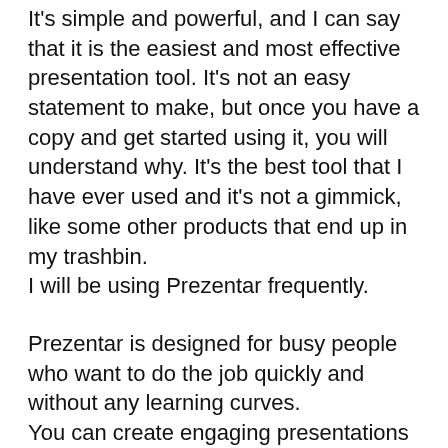It's simple and powerful, and I can say that it is the easiest and most effective presentation tool. It's not an easy statement to make, but once you have a copy and get started using it, you will understand why. It's the best tool that I have ever used and it's not a gimmick, like some other products that end up in my trashbin.
I will be using Prezentar frequently.
Prezentar is designed for busy people who want to do the job quickly and without any learning curves.
You can create engaging presentations in minutes instead of hours or days thanks to the incredible point-and-click templates and huge media library.